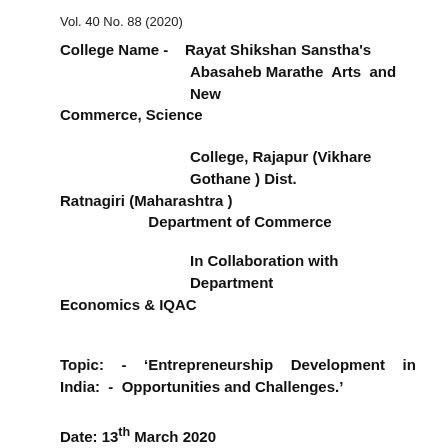Vol. 40 No. 88 (2020)
College Name -    Rayat Shikshan Sanstha's Abasaheb Marathe  Arts  and  New Commerce, Science
College, Rajapur (Vikhare Gothane ) Dist. Ratnagiri (Maharashtra )
Department of Commerce
In Collaboration with Department Economics & IQAC
Topic:  -  'Entrepreneurship  Development  in  India:  - Opportunities and Challenges.'
Date: 13th March 2020